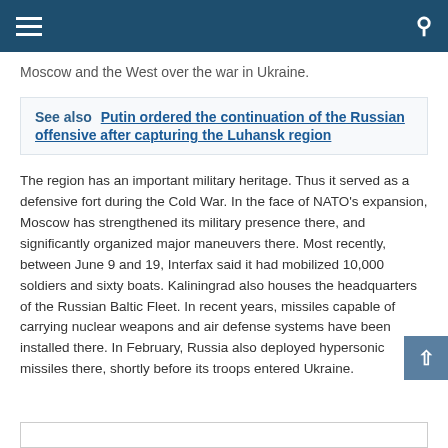Moscow and the West over the war in Ukraine.
See also  Putin ordered the continuation of the Russian offensive after capturing the Luhansk region
The region has an important military heritage. Thus it served as a defensive fort during the Cold War. In the face of NATO's expansion, Moscow has strengthened its military presence there, and significantly organized major maneuvers there. Most recently, between June 9 and 19, Interfax said it had mobilized 10,000 soldiers and sixty boats. Kaliningrad also houses the headquarters of the Russian Baltic Fleet. In recent years, missiles capable of carrying nuclear weapons and air defense systems have been installed there. In February, Russia also deployed hypersonic missiles there, shortly before its troops entered Ukraine.